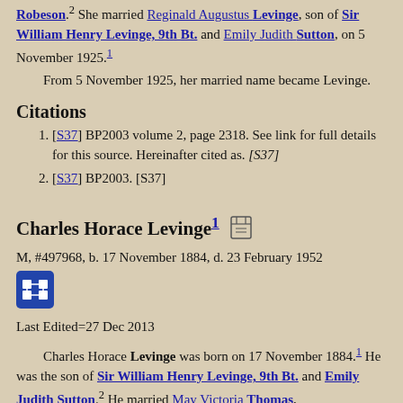Robeson.² She married Reginald Augustus Levinge, son of Sir William Henry Levinge, 9th Bt. and Emily Judith Sutton, on 5 November 1925.¹
From 5 November 1925, her married name became Levinge.
Citations
[S37] BP2003 volume 2, page 2318. See link for full details for this source. Hereinafter cited as. [S37]
[S37] BP2003. [S37]
Charles Horace Levinge¹
M, #497968, b. 17 November 1884, d. 23 February 1952
Last Edited=27 Dec 2013
Charles Horace Levinge was born on 17 November 1884.¹ He was the son of Sir William Henry Levinge, 9th Bt. and Emily Judith Sutton.² He married May Victoria Thomas,